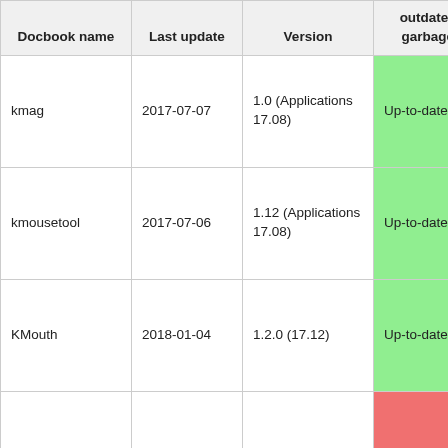| Docbook name | Last update | Version | outdated, garbage) | medium, low) |
| --- | --- | --- | --- | --- |
| kmag | 2017-07-07 | 1.0 (Applications 17.08) | Up-to-date | Medium |
| kmousetool | 2017-07-06 | 1.12 (Applications 17.08) | Up-to-date | Medium |
| KMouth | 2018-01-04 | 1.2.0 (17.12) | Up-to-date | Medium |
|  |  |  |  |  |